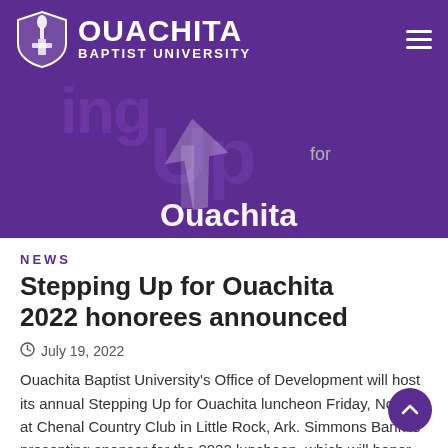OUACHITA BAPTIST UNIVERSITY
[Figure (illustration): Purple banner with 'Stepping Up for Ouachita' campaign logo — large stylized text and hand graphic in white/light tones on purple background]
NEWS
Stepping Up for Ouachita 2022 honorees announced
July 19, 2022
Ouachita Baptist University's Office of Development will host its annual Stepping Up for Ouachita luncheon Friday, Nov. 4, at Chenal Country Club in Little Rock, Ark. Simmons Bank is presenting sponsor for the 2022 luncheon, which will honor Nancy